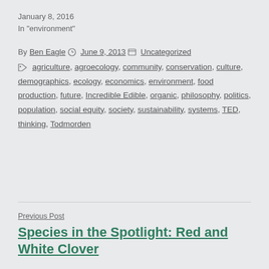January 8, 2016
In "environment"
By Ben Eagle   June 9, 2013   Uncategorized
agriculture, agroecology, community, conservation, culture, demographics, ecology, economics, environment, food production, future, Incredible Edible, organic, philosophy, politics, population, social equity, society, sustainability, systems, TED, thinking, Todmorden
Previous Post
Species in the Spotlight: Red and White Clover